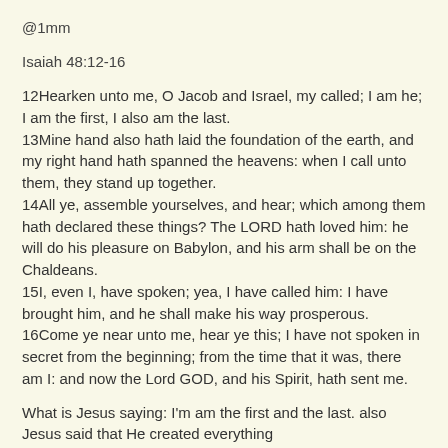@1mm
Isaiah 48:12-16
12Hearken unto me, O Jacob and Israel, my called; I am he; I am the first, I also am the last. 13Mine hand also hath laid the foundation of the earth, and my right hand hath spanned the heavens: when I call unto them, they stand up together. 14All ye, assemble yourselves, and hear; which among them hath declared these things? The LORD hath loved him: he will do his pleasure on Babylon, and his arm shall be on the Chaldeans. 15I, even I, have spoken; yea, I have called him: I have brought him, and he shall make his way prosperous. 16Come ye near unto me, hear ye this; I have not spoken in secret from the beginning; from the time that it was, there am I: and now the Lord GOD, and his Spirit, hath sent me.
What is Jesus saying: I'm am the first and the last. also Jesus said that He created everything